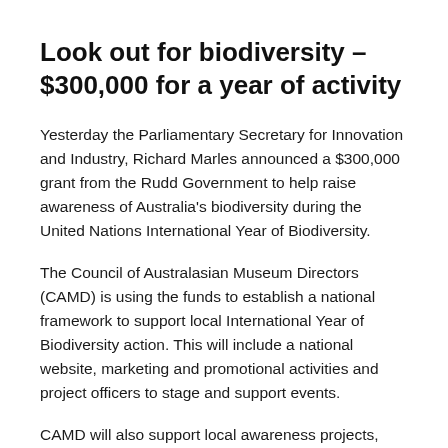Look out for biodiversity – $300,000 for a year of activity
Yesterday the Parliamentary Secretary for Innovation and Industry, Richard Marles announced a $300,000 grant from the Rudd Government to help raise awareness of Australia's biodiversity during the United Nations International Year of Biodiversity.
The Council of Australasian Museum Directors (CAMD) is using the funds to establish a national framework to support local International Year of Biodiversity action. This will include a national website, marketing and promotional activities and project officers to stage and support events.
CAMD will also support local awareness projects,